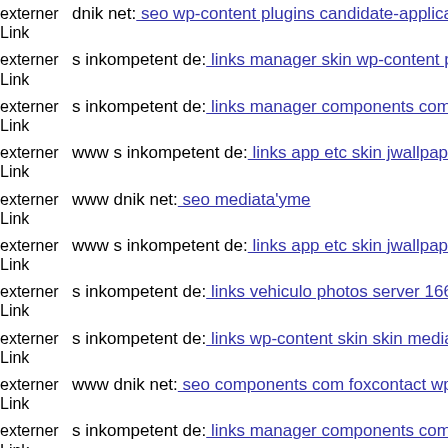externer Link dnik net: seo wp-content plugins candidate-application-form...
externer Link s inkompetent de: links manager skin wp-content plugins w...
externer Link s inkompetent de: links manager components com jinc class...
externer Link www s inkompetent de: links app etc skin jwallpapers files...
externer Link www dnik net: seo mediata'yme
externer Link www s inkompetent de: links app etc skin jwallpapers files...
externer Link s inkompetent de: links vehiculo photos server 1661563260...
externer Link s inkompetent de: links wp-content skin skin media compon...
externer Link www dnik net: seo components com foxcontact wp-content...
externer Link s inkompetent de: links manager components com foxconta...
externer Link s inkompetent de: links wp-content plugins themorningafter...
externer...